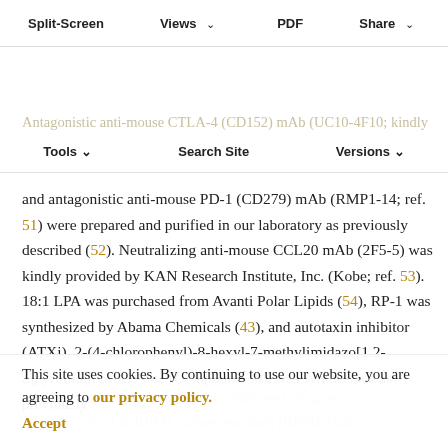Antibody Reactions — Split-Screen | Views | PDF | Share
Antagonistic anti-mouse CTLA-4 (CD152) mAb (UC10-4F10; kindly provided by Dr. Jeffrey A. Bluestone; ref. 50) and antagonistic anti-mouse PD-1 (CD279) mAb (RMP1-14; ref. 51) were prepared and purified in our laboratory as previously described (52). Neutralizing anti-mouse CCL20 mAb (2F5-5) was kindly provided by KAN Research Institute, Inc. (Kobe; ref. 53). 18:1 LPA was purchased from Avanti Polar Lipids (54), RP-1 was synthesized by Abama Chemicals (43), and autotaxin inhibitor (ATXi), 2-(4-chlorophenyl)-8-hexyl-7-methylimidazo[1,2-a]pyrimidin-5(8H)-one (Compound 30), was synthesized as previously
This site uses cookies. By continuing to use our website, you are agreeing to our privacy policy. Accept
were dissolved in RPMI culture medium (RPMI 1640